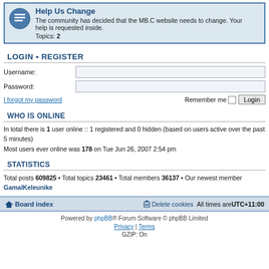[Figure (screenshot): Forum category box with icon showing Help Us Change topic]
LOGIN • REGISTER
Username:
Password:
I forgot my password   Remember me  Login
WHO IS ONLINE
In total there is 1 user online :: 1 registered and 0 hidden (based on users active over the past 5 minutes)
Most users ever online was 178 on Tue Jun 26, 2007 2:54 pm
STATISTICS
Total posts 609825 • Total topics 23461 • Total members 36137 • Our newest member GamalKeleunike
Board index   Delete cookies   All times are UTC+11:00
Powered by phpBB® Forum Software © phpBB Limited
Privacy | Terms
GZIP: On